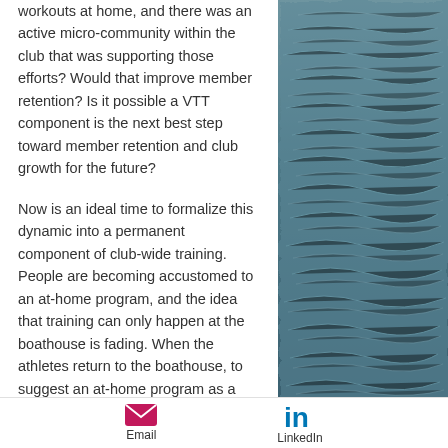workouts at home, and there was an active micro-community within the club that was supporting those efforts? Would that improve member retention? Is it possible a VTT component is the next best step toward member retention and club growth for the future?
Now is an ideal time to formalize this dynamic into a permanent component of club-wide training. People are becoming accustomed to an at-home program, and the idea that training can only happen at the boathouse is fading. When the athletes return to the boathouse, to suggest an at-home program as a regular part of the club training could be
[Figure (photo): Water surface with ripples, blue-grey tones, photograph]
Email    LinkedIn